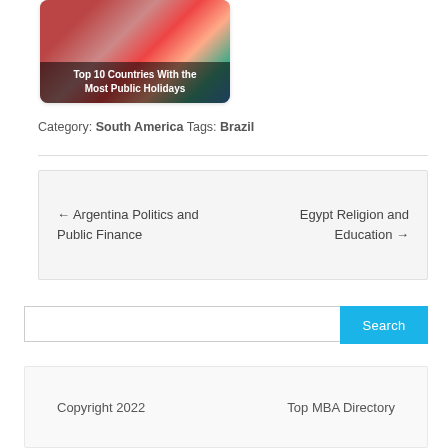[Figure (photo): Photo of children at a public holiday event with flags, overlaid with text 'Top 10 Countries With the Most Public Holidays']
Category: South America  Tags: Brazil
← Argentina Politics and Public Finance
Egypt Religion and Education →
Search
Copyright 2022    Top MBA Directory